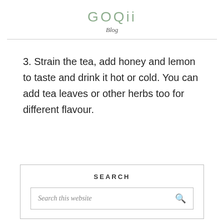GOQii
Blog
3. Strain the tea, add honey and lemon to taste and drink it hot or cold. You can add tea leaves or other herbs too for different flavour.
SEARCH
Search this website